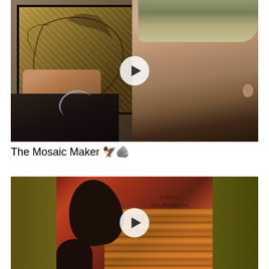[Figure (photo): Video thumbnail showing a young man looking at and pointing to a decorative mosaic artwork mounted on a stone wall. The mosaic depicts a bird or eagle figure. A play button overlay is visible in the center of the image.]
The Mosaic Maker 🦅🪨
[Figure (photo): Video thumbnail showing a piece of artwork with a dark teardrop/eye shape on an orange-red textured background with vertical streaks. Text on the image reads 'A View of Epic Proportions'. A play button overlay is visible in the center.]